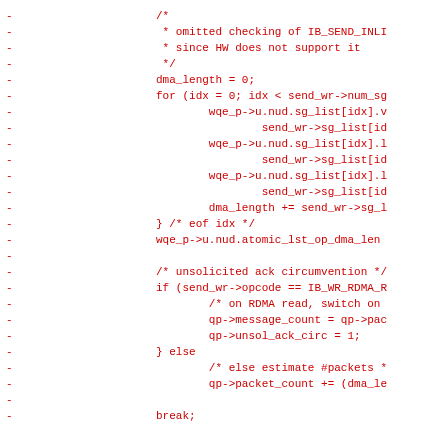Diff/patch view of C source code showing removed lines (marked with -) in red, containing code for DMA length computation, sg_list assignments, unsolicited ack circumvention, and related logic.